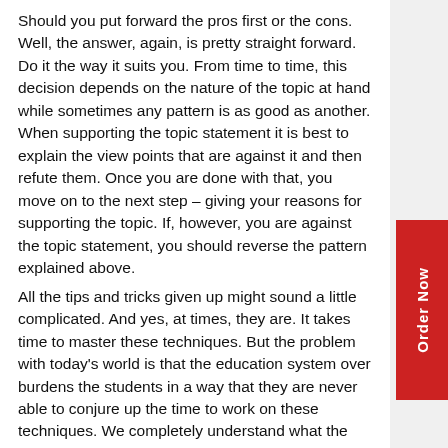Should you put forward the pros first or the cons. Well, the answer, again, is pretty straight forward. Do it the way it suits you. From time to time, this decision depends on the nature of the topic at hand while sometimes any pattern is as good as another. When supporting the topic statement it is best to explain the view points that are against it and then refute them. Once you are done with that, you move on to the next step – giving your reasons for supporting the topic. If, however, you are against the topic statement, you should reverse the pattern explained above.
All the tips and tricks given up might sound a little complicated. And yes, at times, they are. It takes time to master these techniques. But the problem with today's world is that the education system over burdens the students in a way that they are never able to conjure up the time to work on these techniques. We completely understand what the students go through and that is why we opened our academic